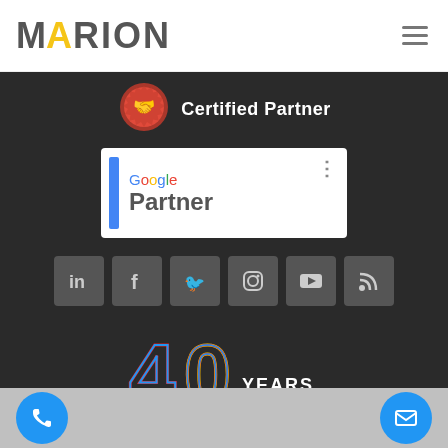[Figure (logo): MARION company logo with yellow A letter]
[Figure (logo): Hamburger menu icon (three horizontal lines)]
[Figure (logo): Certified Partner badge icon (handshake in red/orange medallion)]
Certified Partner
[Figure (logo): Google Partner badge with blue bar, Google text in brand colors, Partner in bold gray, and vertical dots menu]
[Figure (logo): Social media icons row: LinkedIn, Facebook, Twitter, Instagram, YouTube, RSS - each in dark gray square buttons]
[Figure (logo): 40 Years anniversary logo with colorful stylized 4 and 0 in blue, red, yellow outlines with YEARS text]
[Figure (logo): Phone call button - blue circle with white phone icon]
[Figure (logo): Email/envelope button - blue circle with white envelope icon]